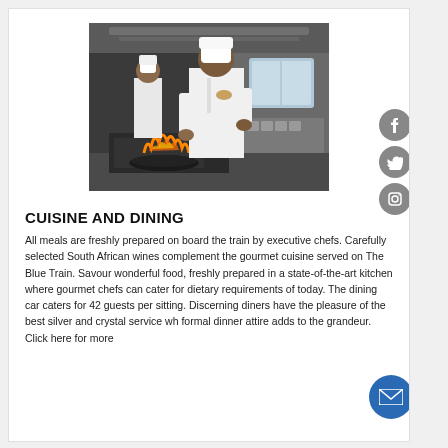[Figure (photo): Two chefs in white uniforms and hats cooking in a professional kitchen on a train, with flames visible from a pan on the stove. Kitchen equipment and windows visible in background.]
CUISINE AND DINING
All meals are freshly prepared on board the train by executive chefs. Carefully selected South African wines complement the gourmet cuisine served on The Blue Train. Savour wonderful food, freshly prepared in a state-of-the-art kitchen where gourmet chefs can cater for dietary requirements of today. The dining car caters for 42 guests per sitting. Discerning diners have the pleasure of the best silver and crystal service wh... formal dinner attire adds to the grandeur. Click here for more